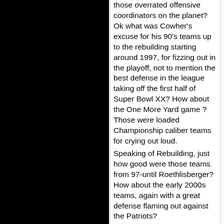those overrated offensive coordinators on the planet? Ok what was Cowher's excuse for his 90's teams up to the rebuilding starting around 1997, for fizzing out in the playoff, not to mention the best defense in the league taking off the first half of Super Bowl XX? How about the One More Yard game ?  Those were loaded Championship caliber teams for crying out loud.
Speaking of Rebuilding, just how good were those teams from 97-until Roethlisberger? How about the early 2000s teams, again with a great defense flaming out against the Patriots?
Further, the AFC Central has been way more competitive during Tomlin's tenure than what Cowher had to contend with.
I will say this, Cowher was a dang good coach, but I'm here to